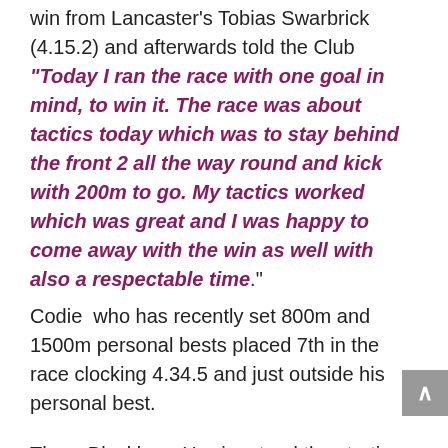win from Lancaster's Tobias Swarbrick (4.15.2) and afterwards told the Club "Today I ran the race with one goal in mind, to win it. The race was about tactics today which was to stay behind the front 2 all the way round and kick with 200m to go. My tactics worked which was great and I was happy to come away with the win as well with also a respectable time." Codie who has recently set 800m and 1500m personal bests placed 7th in the race clocking 4.34.5 and just outside his personal best.
Three Blackburn Harriers toed the starting line for the U15 Boys 1500m Final won by Blackpool's Matthew Holton in 4.43.4. Ben Stratton took 3rd spot in 4.46.4, followed by Oliver Gill in a new PB time of 4.51.6